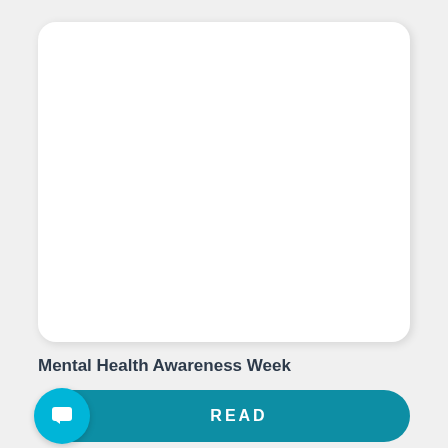[Figure (illustration): White rounded rectangle card with shadow on light grey background, representing a content card placeholder image area.]
Mental Health Awareness Week
[Figure (other): Teal pill-shaped READ button with a bright blue circular icon on the left containing a white chat/comment bubble icon.]